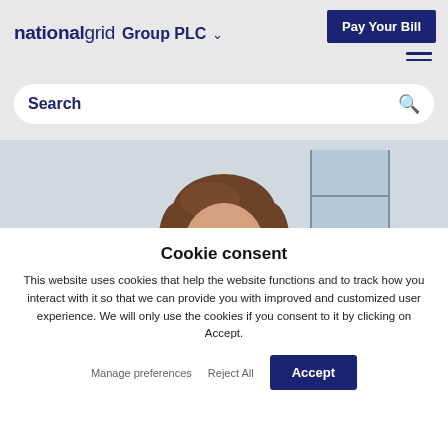nationalgrid Group PLC
Pay Your Bill
Search
[Figure (photo): A young girl with long brown hair looking down at a teal/turquoise book or object, photographed indoors in a bright, modern setting.]
Cookie consent
This website uses cookies that help the website functions and to track how you interact with it so that we can provide you with improved and customized user experience. We will only use the cookies if you consent to it by clicking on Accept.
Manage preferences
Reject All
Accept